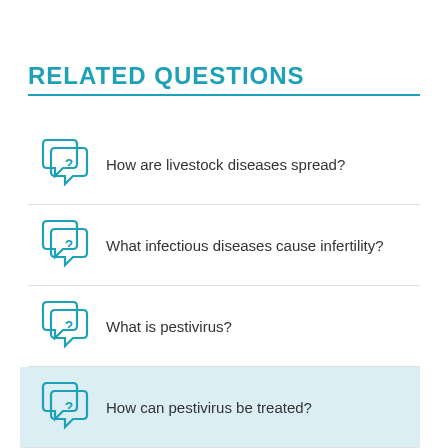RELATED QUESTIONS
How are livestock diseases spread?
What infectious diseases cause infertility?
What is pestivirus?
How can pestivirus be treated?
Is there a vaccine to prevent pestivirus?